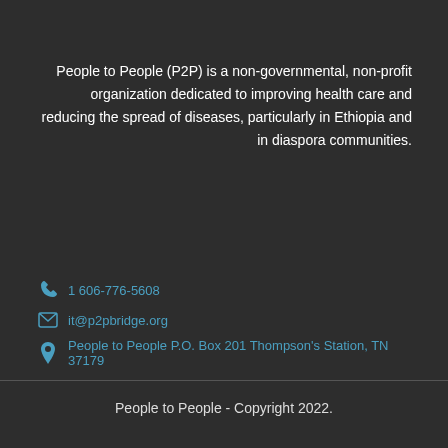People to People (P2P) is a non-governmental, non-profit organization dedicated to improving health care and reducing the spread of diseases, particularly in Ethiopia and in diaspora communities.
1 606-776-5608
it@p2pbridge.org
People to People P.O. Box 201 Thompson's Station, TN 37179
People to People - Copyright 2022.